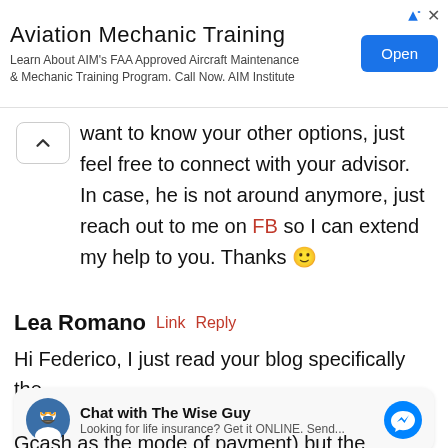[Figure (screenshot): Advertisement banner for Aviation Mechanic Training with an Open button]
want to know your other options, just feel free to connect with your advisor. In case, he is not around anymore, just reach out to me on FB so I can extend my help to you. Thanks 🙂
Lea Romano  Link  Reply
Hi Federico, I just read your blog specifically the
[Figure (screenshot): Chat widget: Chat with The Wise Guy - Looking for life insurance? Get it ONLINE. Send...]
Gcash as the mode of payment) but the